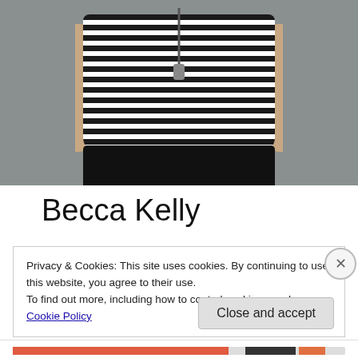[Figure (photo): Photo of Becca Kelly from torso up, wearing a black and white horizontal striped sleeveless top with a necklace/lanyard, against a grey background. Her arms are visible at her sides and she is wearing dark pants.]
Becca Kelly
Privacy & Cookies: This site uses cookies. By continuing to use this website, you agree to their use.
To find out more, including how to control cookies, see here: Cookie Policy